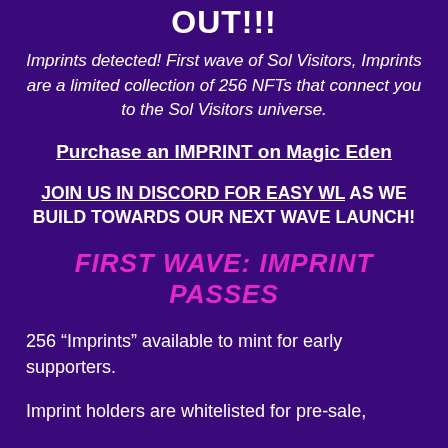OUT!!!
Imprints detected! First wave of Sol Visitors, Imprints are a limited collection of 256 NFTs that connect you to the Sol Visitors universe.
Purchase an IMPRINT on Magic Eden
JOIN US IN DISCORD FOR EASY WL AS WE BUILD TOWARDS OUR NEXT WAVE LAUNCH!
FIRST WAVE: IMPRINT PASSES
256 “Imprints” available to mint for early supporters.
Imprint holders are whitelisted for pre-sale,